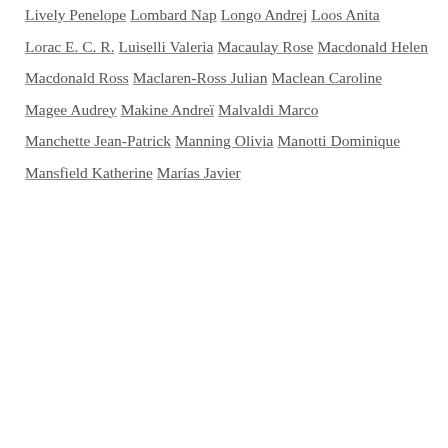Lively Penelope
Lombard Nap
Longo Andrej
Loos Anita
Lorac E. C. R.
Luiselli Valeria
Macaulay Rose
Macdonald Helen
Macdonald Ross
Maclaren-Ross Julian
Maclean Caroline
Magee Audrey
Makine Andreï
Malvaldi Marco
Manchette Jean-Patrick
Manning Olivia
Manotti Dominique
Mansfield Katherine
Marías Javier